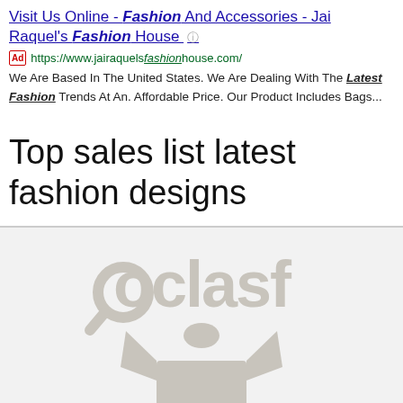Visit Us Online - Fashion And Accessories - Jai Raquel's Fashion House
Ad https://www.jairaquels fashionhouse.com/
We Are Based In The United States. We Are Dealing With The Latest Fashion Trends At An. Affordable Price. Our Product Includes Bags...
Top sales list latest fashion designs
[Figure (logo): Oclasf watermark logo with a dress/shirt graphic below it, rendered in light gray]